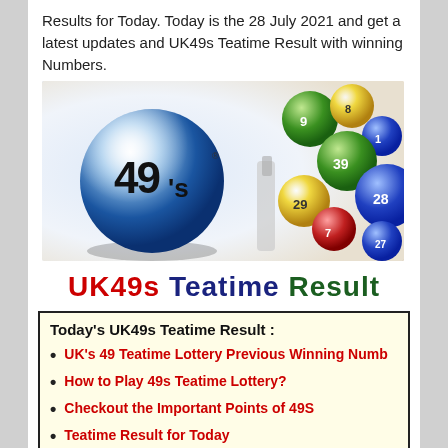Results for Today. Today is the 28 July 2021 and get a latest updates and UK49s Teatime Result with winning Numbers.
[Figure (illustration): UK49s lottery brand image featuring a large blue ball with '49's' logo on the left and colorful numbered lottery balls on the right]
UK49s Teatime Result
Today's UK49s Teatime Result :
UK's 49 Teatime Lottery Previous Winning Numb
How to Play 49s Teatime Lottery?
Checkout the Important Points of 49S
Teatime Result for Today